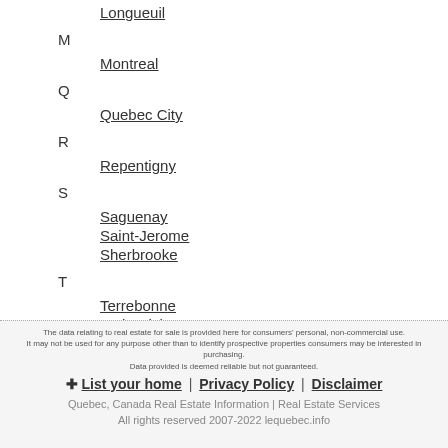Longueuil
M
Montreal
Q
Quebec City
R
Repentigny
S
Saguenay
Saint-Jerome
Sherbrooke
T
Terrebonne
Trois-Rivieres
The data relating to real estate for sale is provided here for consumers' personal, non-commercial use. It may not be used for any purpose other than to identify prospective properties consumers may be interested in purchasing. Data provided is deemed reliable but not guaranteed. + List your home | Privacy Policy | Disclaimer Quebec, Canada Real Estate Information | Real Estate Services All rights reserved 2007-2022 lequebec.info